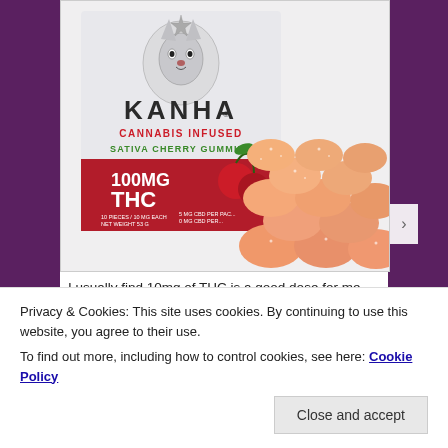[Figure (photo): Product photo of Kanha Cannabis Infused Sativa Cherry Gummies, 100MG THC, showing the package and a pile of orange/pink sugar-coated gummy candies with cherries image on the package.]
I usually find 10mg of THC is a good dose for me, but for many folks 5mg gives them the effects they want. I tried those again several times at my usual dose and just didn't
Privacy & Cookies: This site uses cookies. By continuing to use this website, you agree to their use.
To find out more, including how to control cookies, see here: Cookie Policy
Close and accept